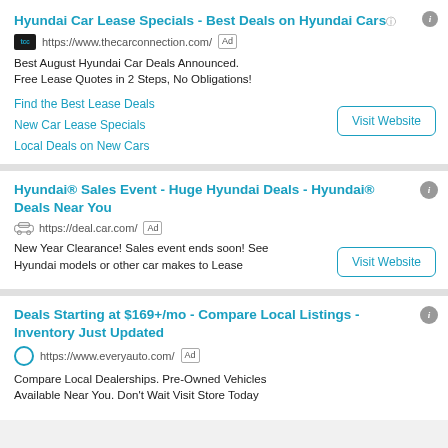Hyundai Car Lease Specials - Best Deals on Hyundai Cars
https://www.thecarconnection.com/ [Ad]
Best August Hyundai Car Deals Announced. Free Lease Quotes in 2 Steps, No Obligations!
Find the Best Lease Deals
New Car Lease Specials
Local Deals on New Cars
Hyundai® Sales Event - Huge Hyundai Deals - Hyundai® Deals Near You
https://deal.car.com/ [Ad]
New Year Clearance! Sales event ends soon! See Hyundai models or other car makes to Lease
Deals Starting at $169+/mo - Compare Local Listings - Inventory Just Updated
https://www.everyauto.com/ [Ad]
Compare Local Dealerships. Pre-Owned Vehicles Available Near You. Don't Wait Visit Store Today